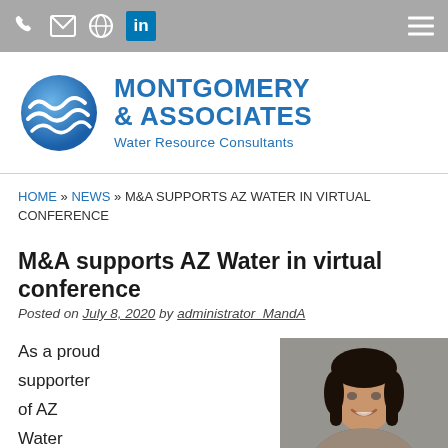Navigation bar with phone, email, location, LinkedIn icons and hamburger menu
[Figure (logo): Montgomery & Associates Water Resource Consultants logo with blue sphere/wave icon]
HOME » NEWS » M&A SUPPORTS AZ WATER IN VIRTUAL CONFERENCE
M&A supports AZ Water in virtual conference
Posted on July 8, 2020 by administrator_MandA
As a proud supporter of AZ Water
[Figure (photo): Photo of a smiling woman with dark hair, photographed outdoors against a grey background]